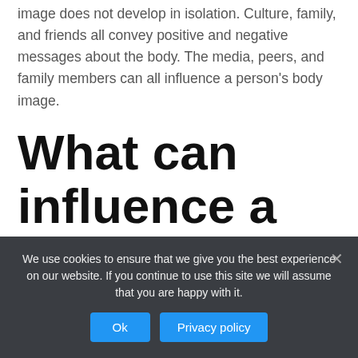image does not develop in isolation. Culture, family, and friends all convey positive and negative messages about the body. The media, peers, and family members can all influence a person's body image.
What can influence a person's body image?
We use cookies to ensure that we give you the best experience on our website. If you continue to use this site we will assume that you are happy with it.